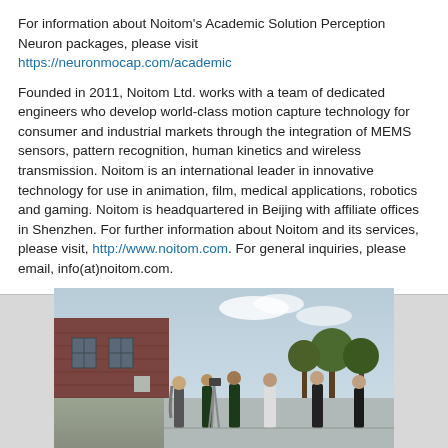For information about Noitom's Academic Solution Perception Neuron packages, please visit https://neuronmocap.com/academic
Founded in 2011, Noitom Ltd. works with a team of dedicated engineers who develop world-class motion capture technology for consumer and industrial markets through the integration of MEMS sensors, pattern recognition, human kinetics and wireless transmission. Noitom is an international leader in innovative technology for use in animation, film, medical applications, robotics and gaming. Noitom is headquartered in Beijing with affiliate offices in Shenzhen. For further information about Noitom and its services, please visit, http://www.noitom.com. For general inquiries, please email, info(at)noitom.com.
[Figure (photo): Outdoor photo showing a group of people on what appears to be a rooftop or open area. A brick building is visible on the left, trees in the background, and several people are standing in various poses across the scene.]